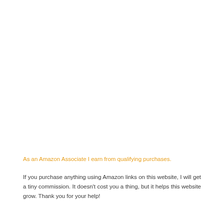As an Amazon Associate I earn from qualifying purchases.
If you purchase anything using Amazon links on this website, I will get a tiny commission. It doesn't cost you a thing, but it helps this website grow. Thank you for your help!